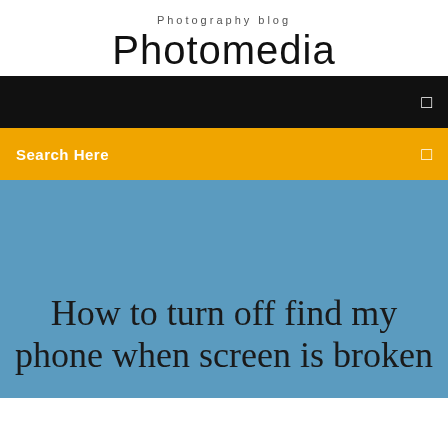Photography blog
Photomedia
[Figure (screenshot): Black navigation bar with a small white square icon on the right]
[Figure (screenshot): Yellow/amber search bar with 'Search Here' text on the left and a white square icon on the right]
How to turn off find my phone when screen is broken